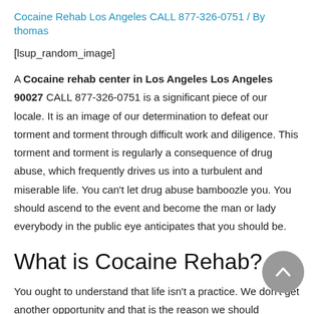Cocaine Rehab Los Angeles CALL 877-326-0751 / By thomas
[lsup_random_image]
A Cocaine rehab center in Los Angeles Los Angeles 90027 CALL 877-326-0751 is a significant piece of our locale. It is an image of our determination to defeat our torment and torment through difficult work and diligence. This torment and torment is regularly a consequence of drug abuse, which frequently drives us into a turbulent and miserable life. You can't let drug abuse bamboozle you. You should ascend to the event and become the man or lady everybody in the public eye anticipates that you should be.
What is Cocaine Rehab?
You ought to understand that life isn't a practice. We don't get another opportunity and that is the reason we should consistently endeavour to be better individuals, for the wellbeing of us and for